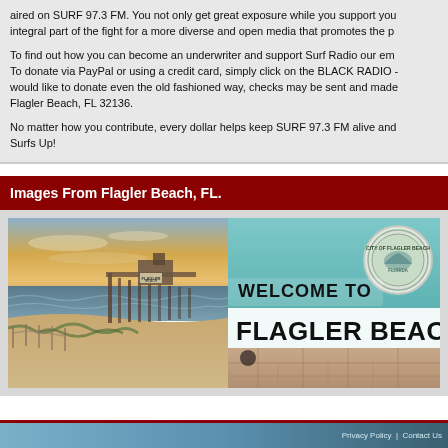aired on SURF 97.3 FM. You not only get great exposure while you support your community, you become an integral part of the fight for a more diverse and open media that promotes the people.
To find out how you can become an underwriter and support Surf Radio our em... To donate via PayPal or using a credit card, simply click on the BLACK RADIO - ... would like to donate even the old fashioned way, checks may be sent and made... Flagler Beach, FL 32136.
No matter how you contribute, every dollar helps keep SURF 97.3 FM alive and ... Surfs Up!
Images From Flagler Beach, FL.
[Figure (photo): Two side-by-side photos of Flagler Beach, FL. Left photo shows the Flagler Beach pier at sunset/dusk with sand, waves, grass, and a Flagler Beach sign visible in the background. Right photo shows the 'Welcome to Flagler Beach' city entrance sign — a teal-colored sign with a circular seal and 'FLAGLER BEACH' in large black letters on a stone base.]